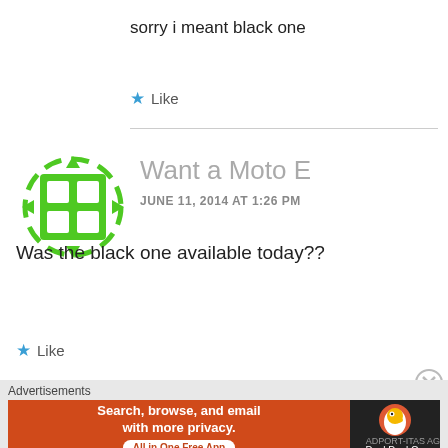sorry i meant black one
★ Like
[Figure (logo): Green avatar icon with dashed circle border and 4-square grid pattern]
Want a Moto E
JUNE 11, 2014 AT 1:26 PM
Was the black one available today??
★ Like
Advertisements
[Figure (screenshot): DuckDuckGo advertisement banner: orange section with 'Search, browse, and email with more privacy. All in One Free App', dark section with DuckDuckGo duck logo]
ADPORT-ITAS AG